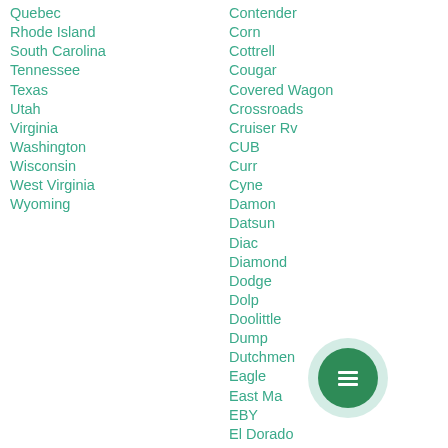Quebec
Rhode Island
South Carolina
Tennessee
Texas
Utah
Virginia
Washington
Wisconsin
West Virginia
Wyoming
Contender
Corn
Cottrell
Cougar
Covered Wagon
Crossroads
Cruiser Rv
CUB
Curr
Cyne
Damon
Datsun
Diac
Diamond
Dodge
Dolp
Doolittle
Dump
Dutchmen
Eagle
East Manufacturing
EBY
El Dorado
Evergreen Rv
Excel